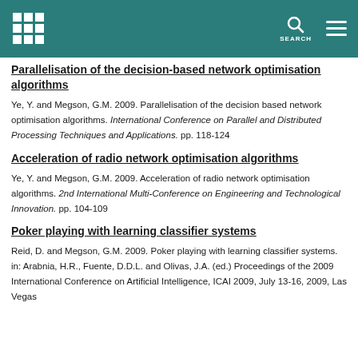Parallelisation of the decision-based network optimisation algorithms
Ye, Y. and Megson, G.M. 2009. Parallelisation of the decision based network optimisation algorithms. International Conference on Parallel and Distributed Processing Techniques and Applications. pp. 118-124
Acceleration of radio network optimisation algorithms
Ye, Y. and Megson, G.M. 2009. Acceleration of radio network optimisation algorithms. 2nd International Multi-Conference on Engineering and Technological Innovation. pp. 104-109
Poker playing with learning classifier systems
Reid, D. and Megson, G.M. 2009. Poker playing with learning classifier systems. in: Arabnia, H.R., Fuente, D.D.L. and Olivas, J.A. (ed.) Proceedings of the 2009 International Conference on Artificial Intelligence, ICAI 2009, July 13-16, 2009, Las Vegas